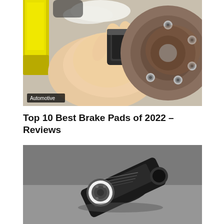[Figure (photo): A person's hand holding a brake pad next to a car wheel hub with lug bolts, and a yellow fluid container visible on the left. An 'Automotive' label badge is overlaid at the bottom left of the image.]
Top 10 Best Brake Pads of 2022 – Reviews
[Figure (photo): A black automotive oil filter lying on its side on a gray surface, showing the white gasket ring and mounting threads on the bottom.]